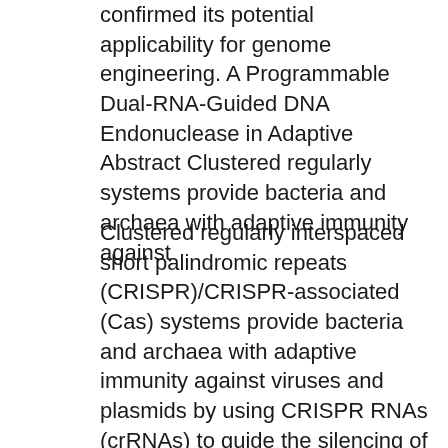confirmed its potential applicability for genome engineering. A Programmable Dual-RNA-Guided DNA Endonuclease in Adaptive Abstract Clustered regularly systems provide bacteria and archaea with adaptive immunity against
Clustered regularly interspaced short palindromic repeats (CRISPR)/CRISPR-associated (Cas) systems provide bacteria and archaea with adaptive immunity against viruses and plasmids by using CRISPR RNAs (crRNAs) to guide the silencing of invading nucleic acids. A programmable dual-RNA-guided DNA endonuclease in adaptive bacterial immunity. Jinek M. et al.